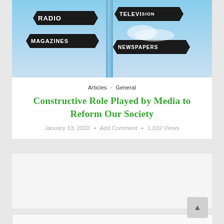[Figure (photo): Street signpost with directional signs pointing different ways, each labeled with a media type: RADIO, TELEVISION, MAGAZINES, NEWSPAPERS. Blue sky with clouds in background.]
Articles · General
Constructive Role Played by Media to Reform Our Society
January 13, 2022 • Add Comment • 1,032 Views